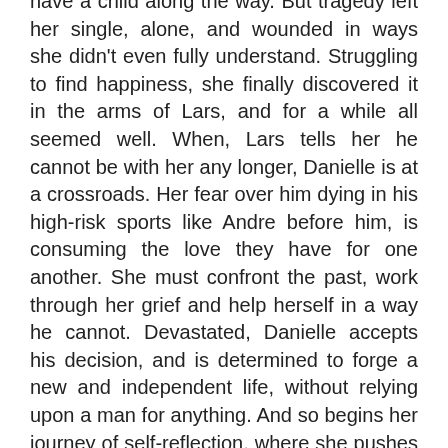have a child along the way. But tragedy left her single, alone, and wounded in ways she didn't even fully understand. Struggling to find happiness, she finally discovered it in the arms of Lars, and for a while all seemed well. When, Lars tells her he cannot be with her any longer, Danielle is at a crossroads. Her fear over him dying in his high-risk sports like Andre before him, is consuming the love they have for one another. She must confront the past, work through her grief and help herself in a way he cannot. Devastated, Danielle accepts his decision, and is determined to forge a new and independent life, without relying upon a man for anything. And so begins her journey of self-reflection, where she pushes against her own fears and vulnerabilities, immerses herself in her career and makes unexpected connections with several men she meets. But Danielle